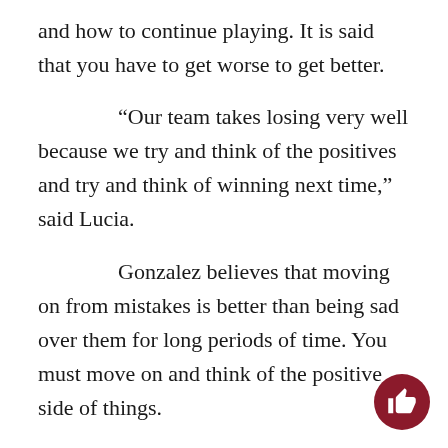and how to continue playing. It is said that you have to get worse to get better.
“Our team takes losing very well because we try and think of the positives and try and think of winning next time,” said Lucia.
Gonzalez believes that moving on from mistakes is better than being sad over them for long periods of time. You must move on and think of the positive side of things.
“We have a goal to win games and go further than last year,” said Lucia. “We have not yet achieved this goal.”
The St. Joseph Charger volleyball team is contin…